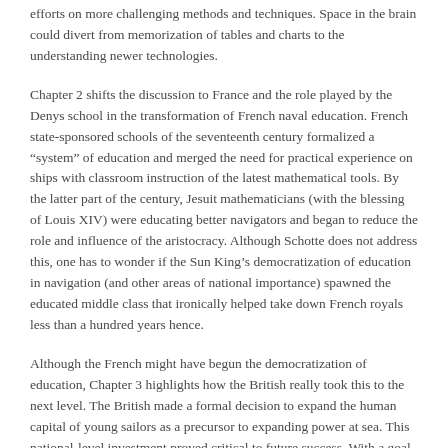efforts on more challenging methods and techniques. Space in the brain could divert from memorization of tables and charts to the understanding newer technologies.
Chapter 2 shifts the discussion to France and the role played by the Denys school in the transformation of French naval education. French state-sponsored schools of the seventeenth century formalized a “system” of education and merged the need for practical experience on ships with classroom instruction of the latest mathematical tools. By the latter part of the century, Jesuit mathematicians (with the blessing of Louis XIV) were educating better navigators and began to reduce the role and influence of the aristocracy. Although Schotte does not address this, one has to wonder if the Sun King’s democratization of education in navigation (and other areas of national importance) spawned the educated middle class that ironically helped take down French royals less than a hundred years hence.
Although the French might have begun the democratization of education, Chapter 3 highlights how the British really took this to the next level. The British made a formal decision to expand the human capital of young sailors as a precursor to expanding power at sea. This national-level investment proved critical to future success. With a goal to explicitly educate not only the sons of the rich, the education of all